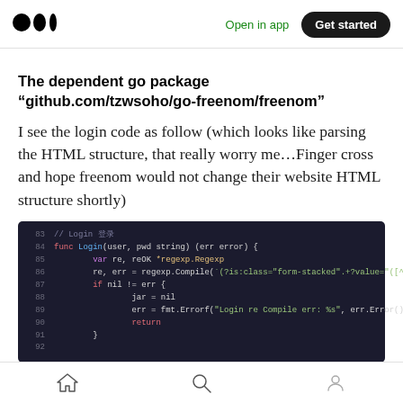Open in app | Get started
The dependent go package “github.com/tzwsoho/go-freenom/freenom”
I see the login code as follow (which looks like parsing the HTML structure, that really worry me…Finger cross and hope freenom would not change their website HTML structure shortly)
[Figure (screenshot): Dark-themed code editor screenshot showing Go language code for Login function, lines 83-92. Line 83: // Login comment, Line 84: func Login(user, pwd string) (err error) {, Line 85: var re, reOK *regexp.Regexp, Line 86: re, err = regexp.Compile(`(?is:class="form-stacked".+?value="([^"]+?)")`), Line 87: if nil != err {, Line 88: jar = nil, Line 89: err = fmt.Errorf("Login re Compile err: %s", err.Error()), Line 90: return, Line 91: }, Line 92: (empty)]
Home | Search | Profile